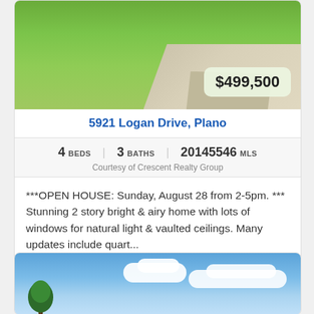[Figure (photo): Exterior photo of property showing green lawn and concrete pathway/patio area with price badge showing $499,500]
5921 Logan Drive, Plano
4 BEDS   3 BATHS   20145546 MLS
Courtesy of Crescent Realty Group
***OPEN HOUSE: Sunday, August 28 from 2-5pm. *** Stunning 2 story bright & airy home with lots of windows for natural light & vaulted ceilings. Many updates include quart...
[Figure (photo): Exterior photo of second property showing blue sky with clouds and trees]